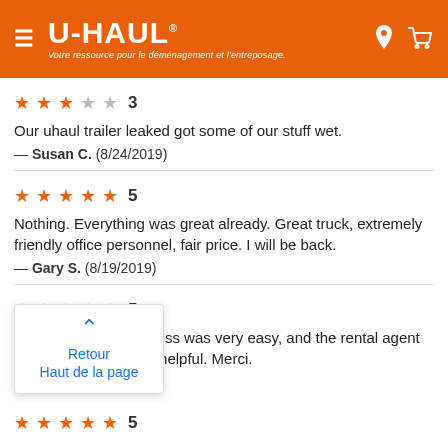U-HAUL — Votre ressource pour le déménagement et l'entreposage.
★★★☆☆ 3
Our uhaul trailer leaked got some of our stuff wet.
— Susan C.  (8/24/2019)
★★★★★ 5
Nothing. Everything was great already. Great truck, extremely friendly office personnel, fair price. I will be back.
— Gary S.  (8/19/2019)
★★★★★ 5
The entire rental process was very easy, and the rental agent was very friendly and helpful. Merci.
— (8/.../2019)
Retour
Haut de la page
★★★★★ 5